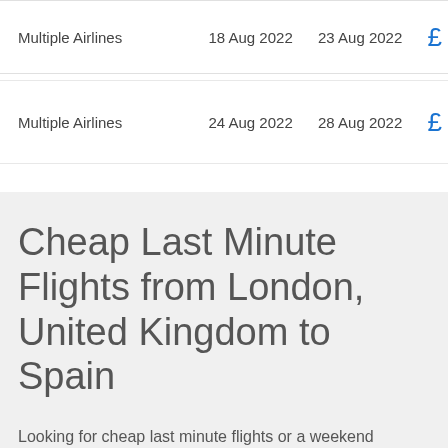| Airline | Departure | Return | Price |
| --- | --- | --- | --- |
| Multiple Airlines | 18 Aug 2022 | 23 Aug 2022 | £ |
| Multiple Airlines | 24 Aug 2022 | 28 Aug 2022 | £ |
Cheap Last Minute Flights from London, United Kingdom to Spain
Looking for cheap last minute flights or a weekend getaway? We've got you covered with weekend flight deals from London, United Kingdom to Spain. The chart below shows the best last minute deals and